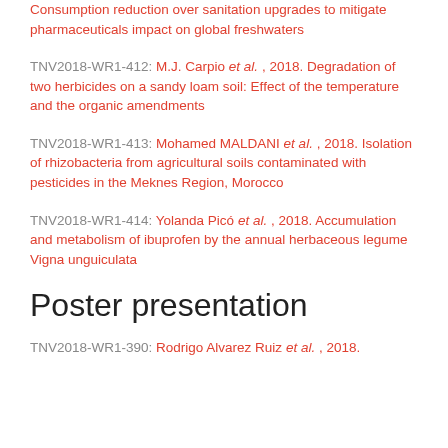TNV2018-WR1-411: Consumption reduction over sanitation upgrades to mitigate pharmaceuticals impact on global freshwaters
TNV2018-WR1-412: M.J. Carpio et al., 2018. Degradation of two herbicides on a sandy loam soil: Effect of the temperature and the organic amendments
TNV2018-WR1-413: Mohamed MALDANI et al., 2018. Isolation of rhizobacteria from agricultural soils contaminated with pesticides in the Meknes Region, Morocco
TNV2018-WR1-414: Yolanda Picó et al., 2018. Accumulation and metabolism of ibuprofen by the annual herbaceous legume Vigna unguiculata
Poster presentation
TNV2018-WR1-390: Rodrigo Alvarez Ruiz et al., 2018.